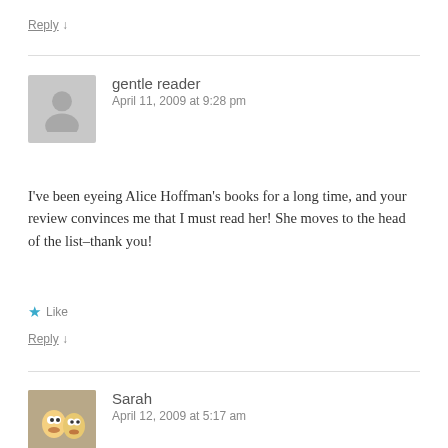Reply ↓
gentle reader
April 11, 2009 at 9:28 pm
I've been eyeing Alice Hoffman's books for a long time, and your review convinces me that I must read her! She moves to the head of the list–thank you!
★ Like
Reply ↓
Sarah
April 12, 2009 at 5:17 am